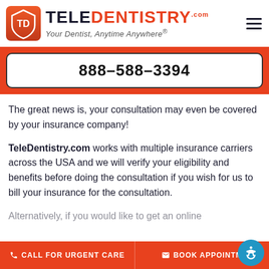[Figure (logo): TeleDentistry logo with orange shield icon and text 'TELE DENTISTRY .com — Your Dentist, Anytime Anywhere®']
888-588-3394
The great news is, your consultation may even be covered by your insurance company!
TeleDentistry.com works with multiple insurance carriers across the USA and we will verify your eligibility and benefits before doing the consultation if you wish for us to bill your insurance for the consultation.
Alternatively, if you would like to get an online
CALL FOR URGENT CARE   BOOK APPOINTMENT